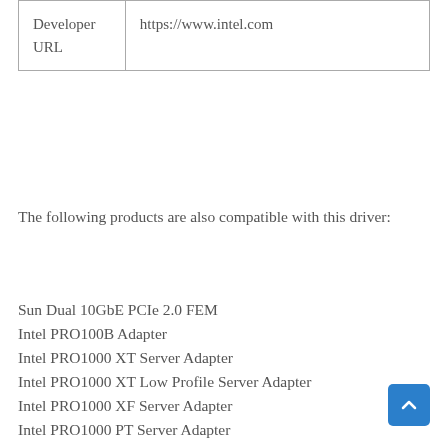| Developer URL | https://www.intel.com |
| --- | --- |
The following products are also compatible with this driver:
Sun Dual 10GbE PCIe 2.0 FEM
Intel PRO100B Adapter
Intel PRO1000 XT Server Adapter
Intel PRO1000 XT Low Profile Server Adapter
Intel PRO1000 XF Server Adapter
Intel PRO1000 PT Server Adapter
Intel PRO1000 PT Quad Port Server Adapter
Intel PRO1000 PT Quad Port Low Profile Server Adapter